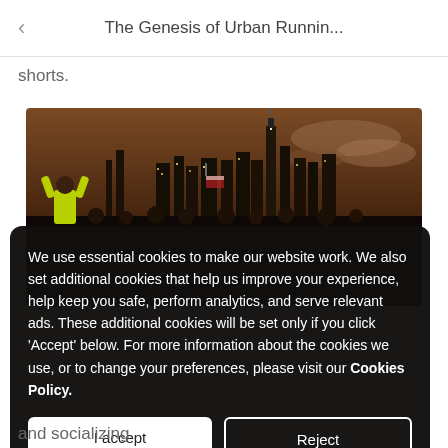The Genesis of Urban Runnin...
shorts.
[Figure (photo): Group of runners/people celebrating at night with a city skyline (New York City) lit up in the background against a dramatic orange-brown sky. One person in a yellow jacket has arms raised.]
We use essential cookies to make our website work. We also set additional cookies that help us improve your experience, help keep you safe, perform analytics, and serve relevant ads. These additional cookies will be set only if you click 'Accept' below. For more information about the cookies we use, or to change your preferences, please visit our Cookies Policy.
and socializing